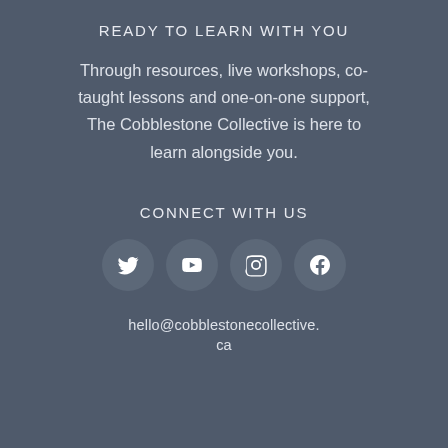READY TO LEARN WITH YOU
Through resources, live workshops, co-taught lessons and one-on-one support, The Cobblestone Collective is here to learn alongside you.
CONNECT WITH US
[Figure (infographic): Four social media icons in dark circles: Twitter bird, YouTube play button, Instagram camera, Facebook F]
hello@cobblestonecollective.ca